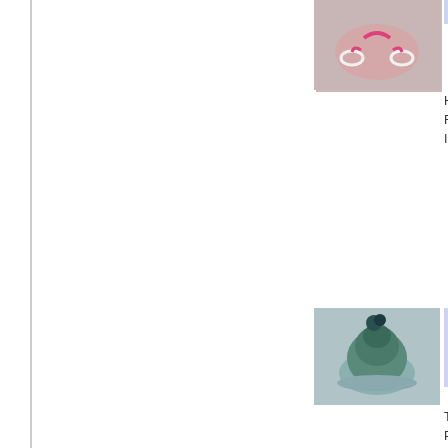[Figure (photo): Small crocheted hat with pink elastic loops on a light background, partially visible at top of page]
HER RAT IS!
[Figure (photo): Small crocheted hat in teal/dark blue colors with pom pom on top, sitting on a white background]
Veri Croc Hat Pom
This Pom elas
[Figure (photo): Small crocheted hat in red/pink colors with fluffy pom pom, sitting on a white background]
Veri Red Win Hat
This Pom elas